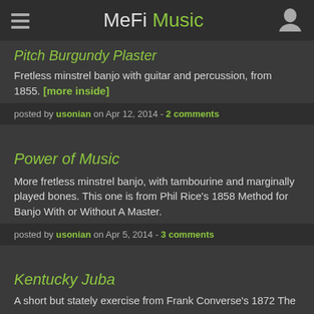MeFi Music
Pitch Burgundy Plaster
Fretless minstrel banjo with guitar and percussion, from 1855. [more inside]
posted by usonian on Apr 12, 2014 - 2 comments
Power of Music
More fretless minstrel banjo, with tambourine and marginally played bones. This one is from Phil Rice's 1858 Method for Banjo With or Without A Master.
posted by usonian on Apr 5, 2014 - 3 comments
Kentucky Juba
A short but stately exercise from Frank Converse's 1872 The